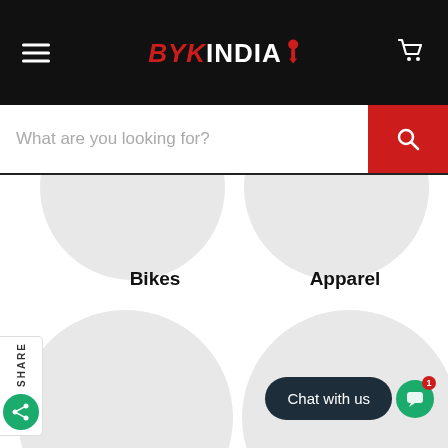[Figure (logo): BYK INDIA logo in red and white on black header bar with hamburger menu and cart icon]
[Figure (screenshot): Search bar with placeholder text 'What are you looking for?' and red search button]
[Figure (illustration): Partial grey circles visible at top representing product category images]
Bikes
Apparel
[Figure (illustration): Large grey circle for Bikes category]
[Figure (illustration): Large grey circle for Apparel category]
[Figure (other): SHARE vertical tab with green share icon button]
[Figure (other): Chat with us dark pill button with notification badge showing 1]